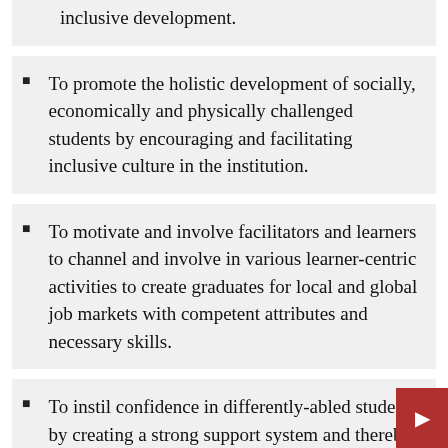inclusive development.
To promote the holistic development of socially, economically and physically challenged students by encouraging and facilitating inclusive culture in the institution.
To motivate and involve facilitators and learners to channel and involve in various learner-centric activities to create graduates for local and global job markets with competent attributes and necessary skills.
To instil confidence in differently-abled students by creating a strong support system and thereby pioneer a noble cause.